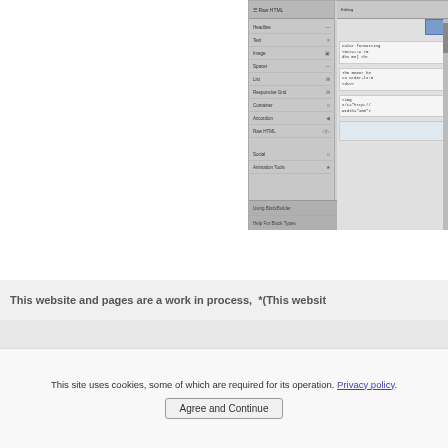[Figure (screenshot): Screenshot of a web editor interface showing a block builder menu on the left with options like Headline, Text, Image, Spacer, List, Responsive Grid, Container, Accordion, Raw HTML, Social, Animation Tools, and at the bottom Using BlockBuilder and Help For Block Types. On the right side, an editing panel is shown with 'Use Overlay To Edit Block' button and several code snippet boxes showing HTML code including <Bi>=##= <B, dhs me] <hr, and an img tag with src='http://' and width='400'.]
This website and pages are a work in process,  *(This website
This site uses cookies, some of which are required for its operation. Privacy policy.
Agree and Continue